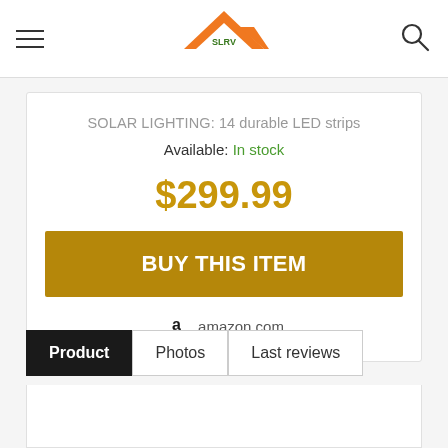[Figure (logo): SLRV logo - orange triangle/roof shape with SLRV text in green]
SOLAR LIGHTING: 14 durable LED strips
Available: In stock
$299.99
BUY THIS ITEM
amazon.com
Product
Photos
Last reviews